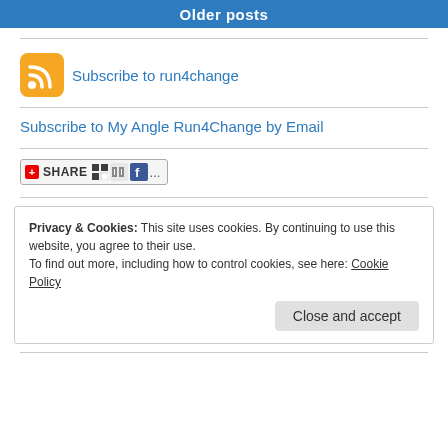Older posts
[Figure (logo): RSS feed icon (orange rounded square with white RSS signal symbol), followed by blue link text 'Subscribe to run4change']
Subscribe to My Angle Run4Change by Email
[Figure (other): Share button widget with red plus icon, SHARE text, and social media icons including Delicious, Digg, and Facebook]
Privacy & Cookies: This site uses cookies. By continuing to use this website, you agree to their use.
To find out more, including how to control cookies, see here: Cookie Policy
Close and accept